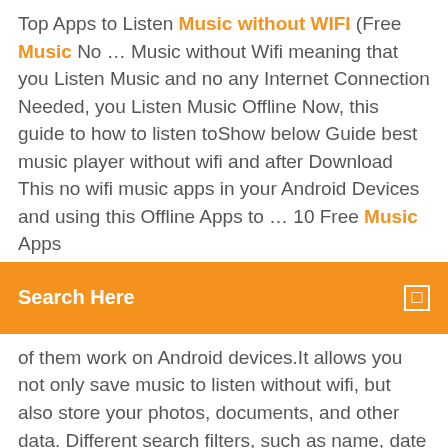Top Apps to Listen Music without WIFI (Free Music No … Music without Wifi meaning that you Listen Music and no any Internet Connection Needed, you Listen Music Offline Now, this guide to how to listen toShow below Guide best music player without wifi and after Download This no wifi music apps in your Android Devices and using this Offline Apps to … 10 Free Music Apps
[Figure (screenshot): Orange search bar with white text 'Search Here' and a square icon on the right]
of them work on Android devices.It allows you not only save music to listen without wifi, but also store your photos, documents, and other data. Different search filters, such as name, date added will help you to find any... Best Apps to Listen Music without WIFI (Music Apps … Music without Wifi meaning that you Listen Music and no any Internet Connection Needed, you Listen Music Offline Now, this guide to how to listen to MusicSoundCloud best Music Player without WIFI and save track to offline using SoundCloud for Android and SoundCloud is